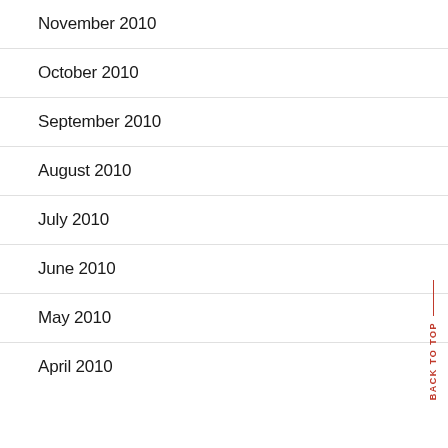November 2010
October 2010
September 2010
August 2010
July 2010
June 2010
May 2010
April 2010